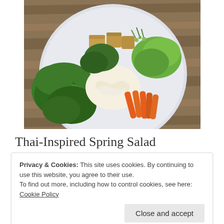[Figure (photo): Overhead view of a Thai-inspired spring salad on a white plate with tofu, rice noodles, carrots, fresh herbs, and greens on a wooden table]
Thai-Inspired Spring Salad
Privacy & Cookies: This site uses cookies. By continuing to use this website, you agree to their use.
To find out more, including how to control cookies, see here: Cookie Policy
Close and accept
1/2 head of Romaine lettuce, roughly...